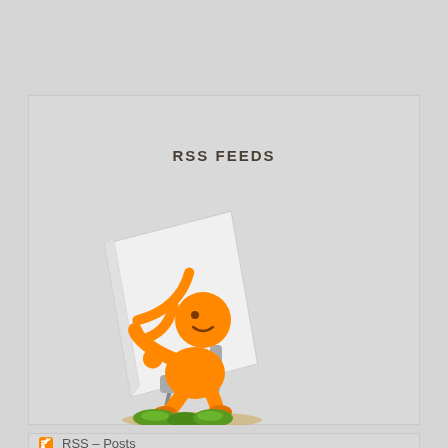RSS FEEDS
[Figure (illustration): An orange cartoon character sitting on a chair reading a book/document with an RSS feed icon on the cover, with grass beneath]
RSS – Posts